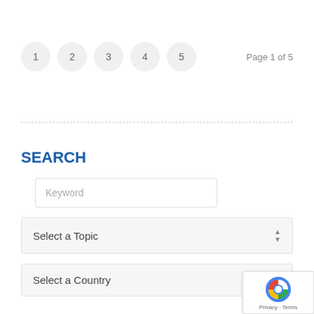[Figure (other): Pagination control showing 5 numbered circles (1, 2, 3, 4, 5) and text 'Page 1 of 5']
SEARCH
[Figure (screenshot): Keyword search input field with placeholder text 'Keyword']
[Figure (screenshot): Dropdown selector labeled 'Select a Topic' with up/down arrows]
[Figure (screenshot): Dropdown selector labeled 'Select a Country']
[Figure (other): reCAPTCHA badge in bottom right corner with Privacy and Terms links]